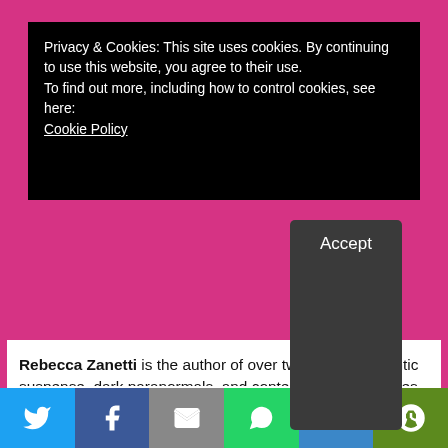Privacy & Cookies: This site uses cookies. By continuing to use this website, you agree to their use.
To find out more, including how to control cookies, see here:
Cookie Policy
Rebecca Zanetti is the author of over twenty-five romantic suspense, dark paranormals, and contemporary romances, and her books have appeared multiple times on the New York Times, USA Today, Amazon, Barnes and Noble, and iBooks bestseller lists. She lives in the wilds of the Pacific Northwest with her own Alpha hero, two kids, a couple of dogs, a crazy cat…and a huge extended family. She believes strongly in luck, karma, and working her butt off…and she thinks one of the best things about being an author, unlike the lawyer she used to be, is that she can let the crazy out.  Upcoming series are: The Blood Brothers, The Realm Enforcers and The Scorpius Syndrome.